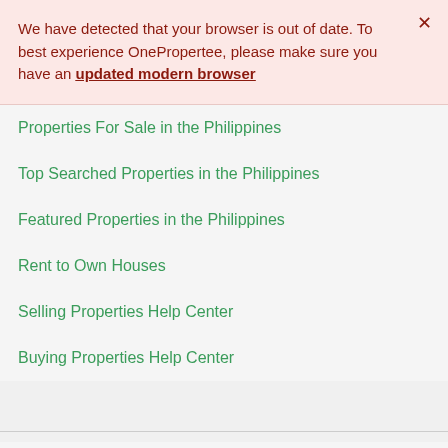We have detected that your browser is out of date. To best experience OnePropertee, please make sure you have an updated modern browser
Properties For Sale in the Philippines
Top Searched Properties in the Philippines
Featured Properties in the Philippines
Rent to Own Houses
Selling Properties Help Center
Buying Properties Help Center
Featured Properties
Bf Resort Village House For Sale